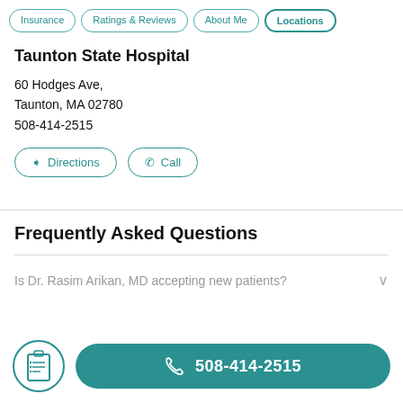Insurance | Ratings & Reviews | About Me | Locations
Taunton State Hospital
60 Hodges Ave,
Taunton, MA 02780
508-414-2515
Directions | Call
Frequently Asked Questions
Is Dr. Rasim Arikan, MD accepting new patients?
508-414-2515